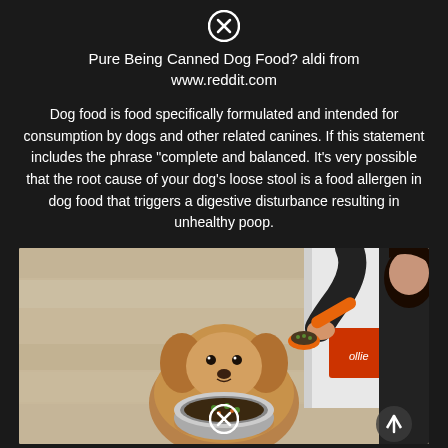[Figure (other): Close/dismiss button (X in circle) at top center]
Pure Being Canned Dog Food? aldi from www.reddit.com
Dog food is food specifically formulated and intended for consumption by dogs and other related canines. If this statement includes the phrase “complete and balanced. It’s very possible that the root cause of your dog’s loose stool is a food allergen in dog food that triggers a digestive disturbance resulting in unhealthy poop.
[Figure (photo): Photo of a fluffy golden-brown dog looking up at a person holding an orange scoop of food over a silver bowl, with a red box/package visible in the background on a wooden floor. Person is wearing dark long-sleeve top.]
[Figure (other): Close/dismiss button (X in circle) at bottom center of image]
[Figure (other): Up arrow button at bottom right of photo]